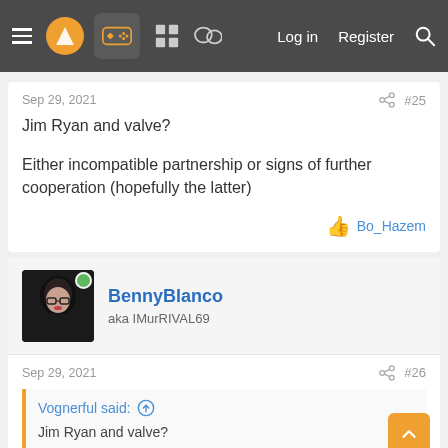Log in  Register
Sep 29, 2021   #25
Jim Ryan and valve?

Either incompatible partnership or signs of further cooperation (hopefully the latter)
👍 Bo_Hazem
BennyBlanco
aka IMurRIVAL69
Sep 29, 2021   #26
Vognerful said:
Jim Ryan and valve?

Either incompatible partnership or signs of further cooperation...